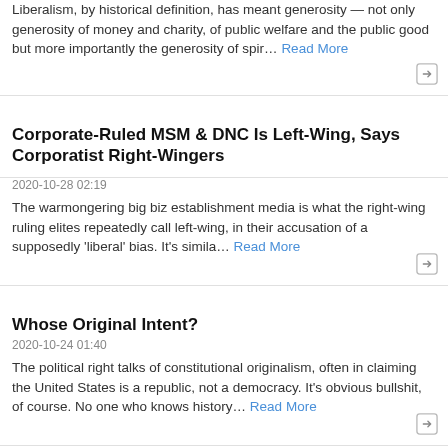Liberalism, by historical definition, has meant generosity — not only generosity of money and charity, of public welfare and the public good but more importantly the generosity of spir… Read More
Corporate-Ruled MSM & DNC Is Left-Wing, Says Corporatist Right-Wingers
2020-10-28 02:19
The warmongering big biz establishment media is what the right-wing ruling elites repeatedly call left-wing, in their accusation of a supposedly 'liberal' bias. It's simila… Read More
Whose Original Intent?
2020-10-24 01:40
The political right talks of constitutional originalism, often in claiming the United States is a republic, not a democracy. It's obvious bullshit, of course. No one who knows history… Read More